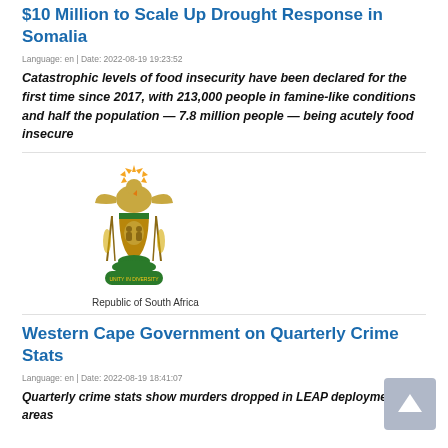$10 Million to Scale Up Drought Response in Somalia
Language: en | Date: 2022-08-19 19:23:52
Catastrophic levels of food insecurity have been declared for the first time since 2017, with 213,000 people in famine-like conditions and half the population — 7.8 million people — being acutely food insecure
[Figure (logo): Republic of South Africa coat of arms logo with text 'Republic of South Africa']
Western Cape Government on Quarterly Crime Stats
Language: en | Date: 2022-08-19 18:41:07
Quarterly crime stats show murders dropped in LEAP deployment areas